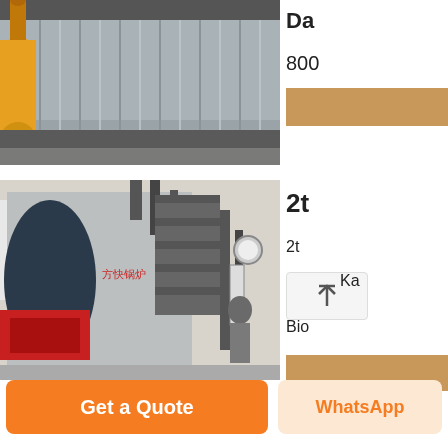[Figure (photo): Industrial boiler facility exterior showing large yellow pipe/drum on left and corrugated metal wall/shed in background]
Da
800
[Figure (other): Orange colored rectangle/banner]
[Figure (photo): Industrial gas/oil fired steam boiler (Fangkuai brand, Chinese characters 方快锅炉) horizontally mounted in a boiler room, dark blue front end cap visible, red burner assembly at front, worker visible in background, pressure gauge on right side piping]
2t
2t
Ka
Bio
[Figure (other): Orange/tan colored rectangle/banner]
Get a Quote
WhatsApp